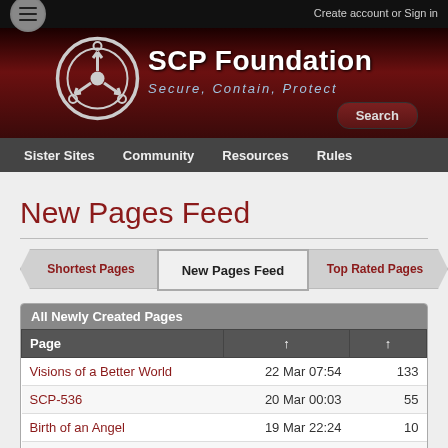Create account or Sign in
[Figure (logo): SCP Foundation logo with hamburger menu icon]
SCP Foundation — Secure, Contain, Protect
Sister Sites  Community  Resources  Rules
New Pages Feed
Shortest Pages | New Pages Feed | Top Rated Pages
| Page | ↑ | ↑ |
| --- | --- | --- |
| Visions of a Better World | 22 Mar 07:54 | 133 |
| SCP-536 | 20 Mar 00:03 | 55 |
| Birth of an Angel | 19 Mar 22:24 | 10 |
| Dear Cavalier | 17 Mar 20:36 | 13 |
| "DStecks"'s Personnel File | 16 Mar 04:41 | 5 |
| SCP-711-EX | 16 Mar 01:18 | 58 |